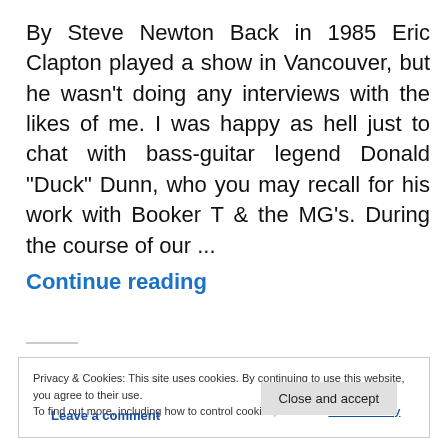By Steve Newton Back in 1985 Eric Clapton played a show in Vancouver, but he wasn't doing any interviews with the likes of me. I was happy as hell just to chat with bass-guitar legend Donald "Duck" Dunn, who you may recall for his work with Booker T & the MG's. During the course of our ... Continue reading
Privacy & Cookies: This site uses cookies. By continuing to use this website, you agree to their use. To find out more, including how to control cookies, see here: Cookie Policy
Close and accept
Leave a comment